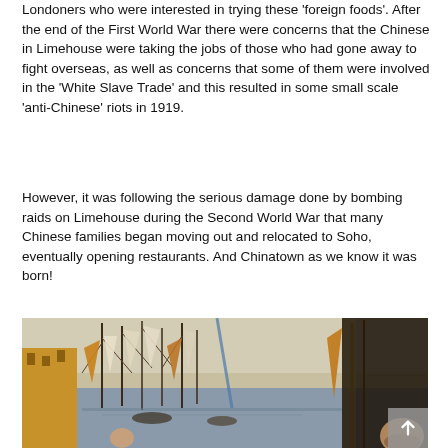Londoners who were interested in trying these ‘foreign foods’. After the end of the First World War there were concerns that the Chinese in Limehouse were taking the jobs of those who had gone away to fight overseas, as well as concerns that some of them were involved in the ‘White Slave Trade’ and this resulted in some small scale ‘anti-Chinese’ riots in 1919.
However, it was following the serious damage done by bombing raids on Limehouse during the Second World War that many Chinese families began moving out and relocated to Soho, eventually opening restaurants. And Chinatown as we know it was born!
[Figure (photo): A historical painting depicting a busy harbor or port scene with multiple sailing ships with masts and rigging, figures on the docks, and buildings in the background. A bearded man is partially visible in the lower right corner.]